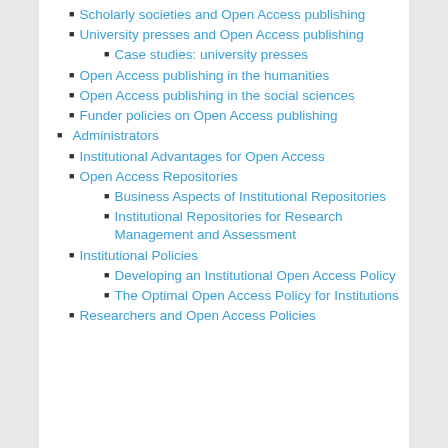Scholarly societies and Open Access publishing
University presses and Open Access publishing
Case studies: university presses
Open Access publishing in the humanities
Open Access publishing in the social sciences
Funder policies on Open Access publishing
Administrators
Institutional Advantages for Open Access
Open Access Repositories
Business Aspects of Institutional Repositories
Institutional Repositories for Research Management and Assessment
Institutional Policies
Developing an Institutional Open Access Policy
The Optimal Open Access Policy for Institutions
Researchers and Open Access Policies